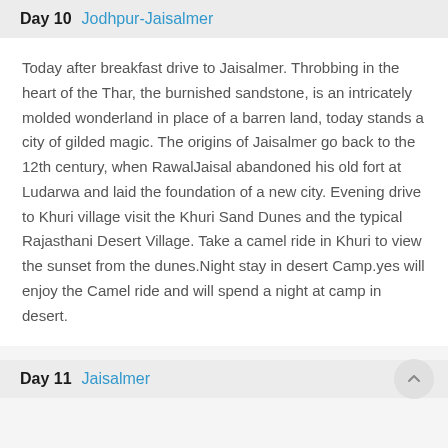Day 10   Jodhpur-Jaisalmer
Today after breakfast drive to Jaisalmer. Throbbing in the heart of the Thar, the burnished sandstone, is an intricately molded wonderland in place of a barren land, today stands a city of gilded magic. The origins of Jaisalmer go back to the 12th century, when RawalJaisal abandoned his old fort at Ludarwa and laid the foundation of a new city. Evening drive to Khuri village visit the Khuri Sand Dunes and the typical Rajasthani Desert Village. Take a camel ride in Khuri to view the sunset from the dunes.Night stay in desert Camp.yes will enjoy the Camel ride and will spend a night at camp in desert.
Day 11   Jaisalmer